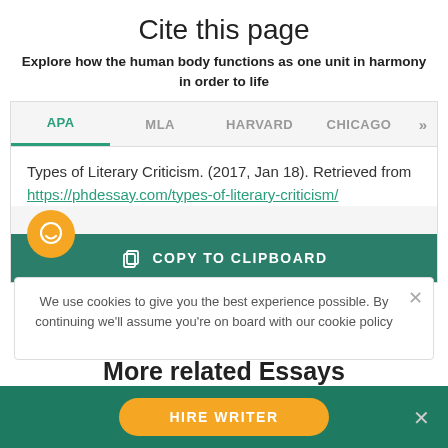Cite this page
Explore how the human body functions as one unit in harmony in order to life
[Figure (screenshot): Tab navigation with APA (active/underlined in green), MLA, HARVARD, CHICAGO, and >> for more options, on a light gray background]
Types of Literary Criticism. (2017, Jan 18). Retrieved from https://phdessay.com/types-of-literary-criticism/
COPY TO CLIPBOARD
We use cookies to give you the best experience possible. By continuing we'll assume you're on board with our cookie policy
More related Essays
HIRE WRITER